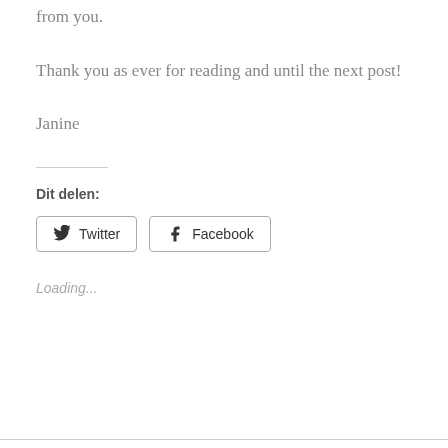from you.
Thank you as ever for reading and until the next post!
Janine
Dit delen:
[Figure (other): Twitter and Facebook share buttons]
Loading...